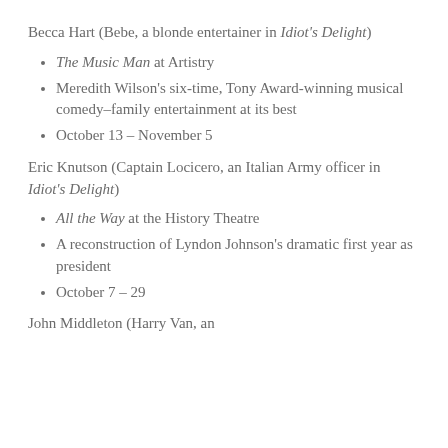Becca Hart (Bebe, a blonde entertainer in Idiot's Delight)
The Music Man at Artistry
Meredith Wilson's six-time, Tony Award-winning musical comedy–family entertainment at its best
October 13 – November 5
Eric Knutson (Captain Locicero, an Italian Army officer in Idiot's Delight)
All the Way at the History Theatre
A reconstruction of Lyndon Johnson's dramatic first year as president
October 7 – 29
John Middleton (Harry Van, an